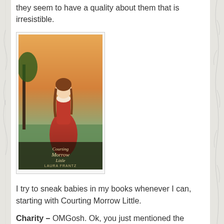… utter perfection. Since they're straight from heaven they seem to have a quality about them that is irresistible.
[Figure (photo): Book cover of 'Courting Morrow Little' by Laura Frantz, showing a woman in a red dress with a landscape background.]
I try to sneak babies in my books whenever I can, starting with Courting Morrow Little.
Charity – OMGosh. Ok, you just mentioned the name of … probably my all time favorite book!!! Not only is the cover SO BEAUTIFUL, but the story is too. This book is what got me into reading. I NEVER was a reader until I read this book. Growing up, off and on, I would read for school and such, but as an